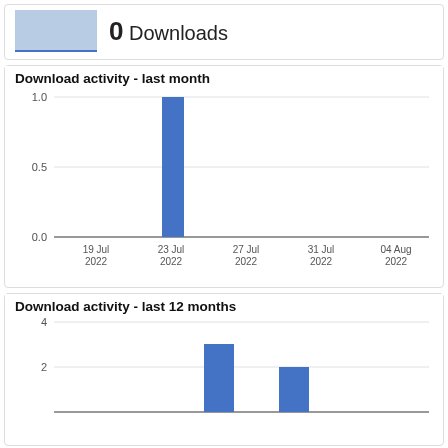0 Downloads
Download activity - last month
[Figure (bar-chart): Download activity - last month]
Download activity - last 12 months
[Figure (bar-chart): Download activity - last 12 months]